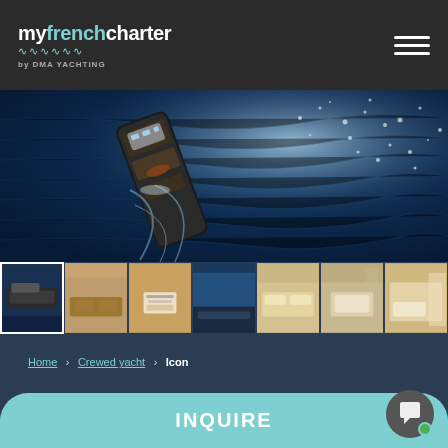myfrenchcharter by DMA YACHTING
[Figure (photo): Aerial view of a luxury motor yacht sailing on deep blue water, seen from above at an angle, with white wake/spray visible behind the vessel]
[Figure (photo): Thumbnail strip showing 7 photos of the yacht Icon: exterior, interior salon, dining room, deck view, sun deck with loungers, stateroom, and cabin]
Home › Crewed yacht › Icon